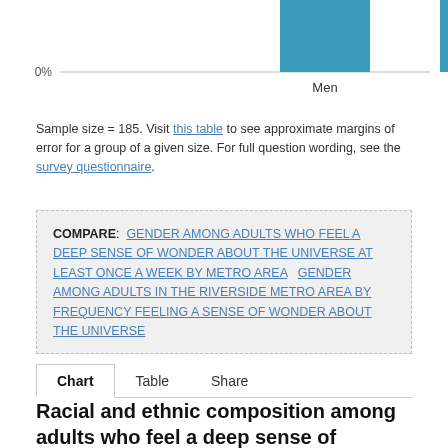[Figure (bar-chart): Partial bar chart showing two bars for Men and Women with 0% baseline visible at top of page]
Sample size = 185. Visit this table to see approximate margins of error for a group of a given size. For full question wording, see the survey questionnaire.
COMPARE: GENDER AMONG ADULTS WHO FEEL A DEEP SENSE OF WONDER ABOUT THE UNIVERSE AT LEAST ONCE A WEEK BY METRO AREA   GENDER AMONG ADULTS IN THE RIVERSIDE METRO AREA BY FREQUENCY FEELING A SENSE OF WONDER ABOUT THE UNIVERSE
Chart   Table   Share
Racial and ethnic composition among adults who feel a deep sense of wonder about the universe at